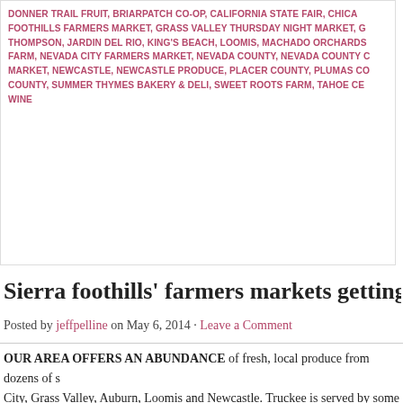DONNER TRAIL FRUIT, BRIARPATCH CO-OP, CALIFORNIA STATE FAIR, CHICAGO FOOTHILLS FARMERS MARKET, GRASS VALLEY THURSDAY NIGHT MARKET, G THOMPSON, JARDIN DEL RIO, KING'S BEACH, LOOMIS, MACHADO ORCHARDS FARM, NEVADA CITY FARMERS MARKET, NEVADA COUNTY, NEVADA COUNTY C MARKET, NEWCASTLE, NEWCASTLE PRODUCE, PLACER COUNTY, PLUMAS CO COUNTY, SUMMER THYMES BAKERY & DELI, SWEET ROOTS FARM, TAHOE CE WINE
Sierra foothills' farmers markets getting underwa...
Posted by jeffpelline on May 6, 2014 · Leave a Comment
OUR AREA OFFERS AN ABUNDANCE of fresh, local produce from dozens of s... City, Grass Valley, Auburn, Loomis and Newcastle. Truckee is served by some in... Sierra Valley Farms, as well as ones in the foothills. The fresh, local fruits and ve... eggs are sold [...]
FILED UNDER FOOD · TAGGED WITH AUBURN, BIERWAGEN'S DONNER TRAIL F CALIFORNIA ORGANICS, EXPLORE, FARMERS MARKETS, FOOTHILL FARMERS GRASS VALLEY THURSDAY NIGHT MARKET, IKEDA'S, JARDIN DEL RIO, LOOMIS MOTHER TRUCKERS, MOUNTAIN BOUNTY FARM, NEVADA CITY, NEVADA CITY N NEVADA COUNTY CERTIFIED GROWERS MARKET, NEW EARTH MARKET, NEWC PRODUCE, SIERRA FOOTHILLS, SIERRA MEAT BUYERS CLUB, SIERRA VALLEY FARM, TAHOE CENTRAL MARKET, TRUCKEE